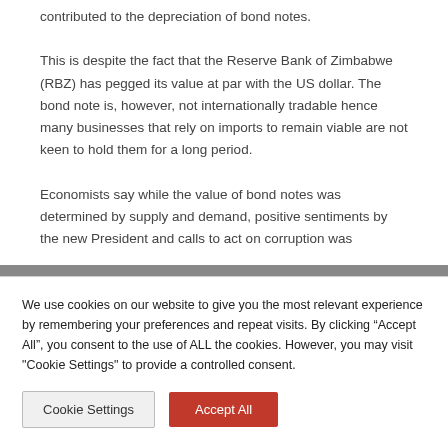contributed to the depreciation of bond notes.
This is despite the fact that the Reserve Bank of Zimbabwe (RBZ) has pegged its value at par with the US dollar. The bond note is, however, not internationally tradable hence many businesses that rely on imports to remain viable are not keen to hold them for a long period.
Economists say while the value of bond notes was determined by supply and demand, positive sentiments by the new President and calls to act on corruption was
We use cookies on our website to give you the most relevant experience by remembering your preferences and repeat visits. By clicking “Accept All”, you consent to the use of ALL the cookies. However, you may visit "Cookie Settings" to provide a controlled consent.